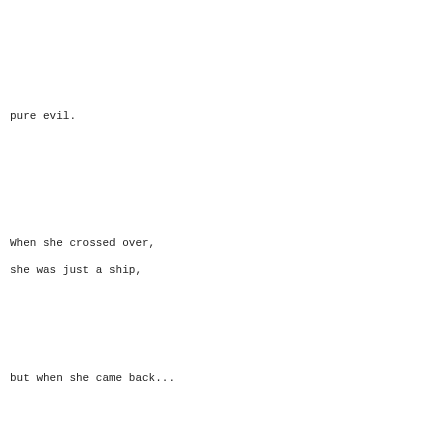pure evil.
When she crossed over,
she was just a ship,
but when she came back...